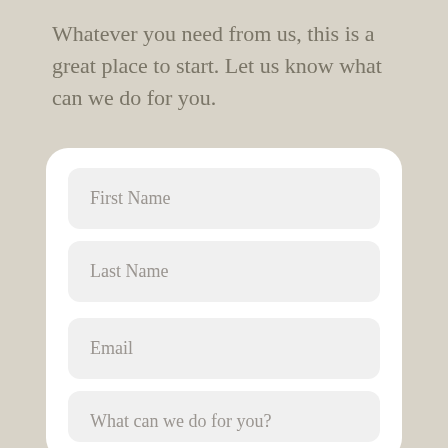Whatever you need from us, this is a great place to start. Let us know what can we do for you.
[Figure (infographic): Contact form card with fields: First Name, Last Name, Email, and partially visible 'What can we do for you?' field, on a beige/tan background.]